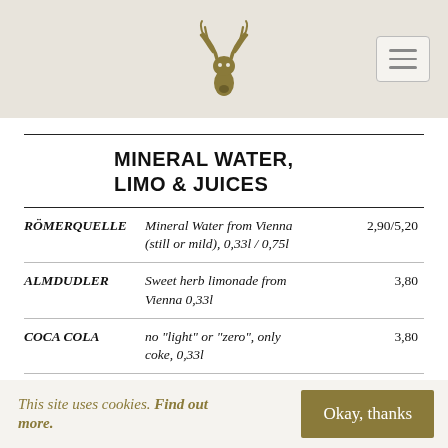[Figure (logo): Deer antler logo in gold/olive color, centered in header]
MINERAL WATER, LIMO & JUICES
| Name | Description | Price |
| --- | --- | --- |
| RÖMERQUELLE | Mineral Water from Vienna (still or mild), 0,33l / 0,75l | 2,90/5,20 |
| ALMDUDLER | Sweet herb limonade from Vienna 0,33l | 3,80 |
| COCA COLA | no "light" or "zero", only coke, 0,33l | 3,80 |
| VAIHINGER BIO | apple, cherry, rhubarb |  |
This site uses cookies. Find out more. Okay, thanks